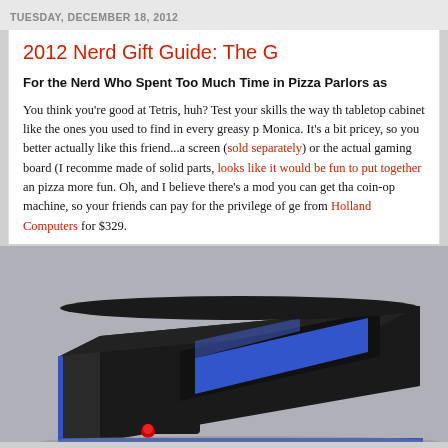TUESDAY, DECEMBER 18, 2012
2012 Nerd Gift Guide: The G
For the Nerd Who Spent Too Much Time in Pizza Parlors as
You think you're good at Tetris, huh? Test your skills the way th... tabletop cabinet like the ones you used to find in every greasy p... Monica. It's a bit pricey, so you better actually like this friend...a... screen (sold separately) or the actual gaming board (I recomme... made of solid parts, looks like it would be fun to put together an... pizza more fun. Oh, and I believe there's a mod you can get tha... coin-op machine, so your friends can pay for the privilege of ge... from Holland Computers for $329.
[Figure (photo): Photo of a tabletop arcade cabinet with black casing and blue screen, shown at an angle from above. There is a small red button visible.]